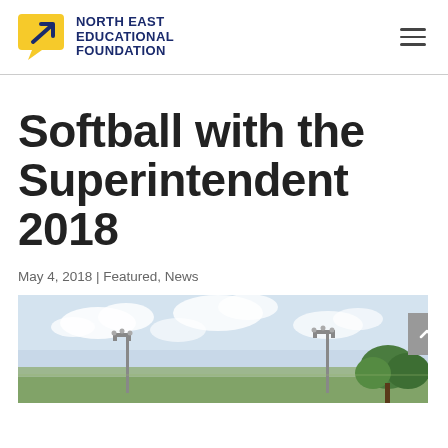NORTH EAST EDUCATIONAL FOUNDATION
Softball with the Superintendent 2018
May 4, 2018 | Featured, News
[Figure (photo): Outdoor softball field photo showing light poles against a partly cloudy sky with trees visible on the right.]